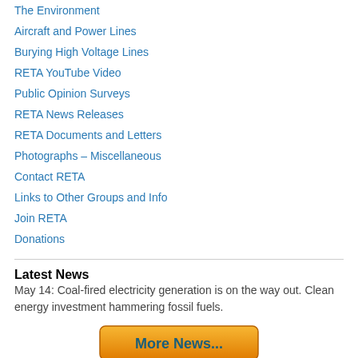The Environment
Aircraft and Power Lines
Burying High Voltage Lines
RETA YouTube Video
Public Opinion Surveys
RETA News Releases
RETA Documents and Letters
Photographs – Miscellaneous
Contact RETA
Links to Other Groups and Info
Join RETA
Donations
Latest News
May 14: Coal-fired electricity generation is on the way out. Clean energy investment hammering fossil fuels.
[Figure (other): Orange button labeled 'More News...']